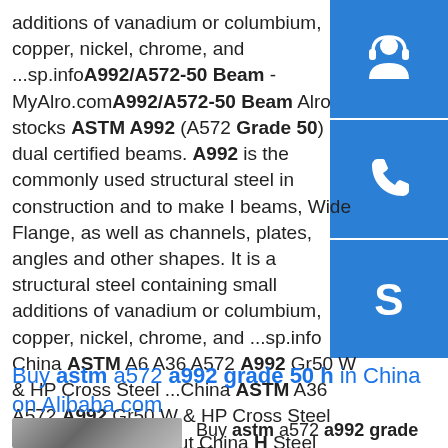additions of vanadium or columbium, copper, nickel, chrome, and ...sp.info A992/A572-50 Beam - MyAlro.com A992/A572-50 Beam Alro stocks ASTM A992 (A572 Grade 50) dual certified beams. A992 is the commonly used structural steel in construction and to make I beams, Wide Flange, as well as channels, plates, angles and other shapes. It is a structural steel containing small additions of vanadium or columbium, copper, nickel, chrome, and ...sp.info China ASTM A6 A36 A572 A992 Gr50 W & HP Cross Steel ...China ASTM A36 A572 A992 Gr50 W & HP Cross Steel Section, details about China H Steel Section, Structural from ASTM A6 A36 A572 A992 Gr50 W & HP Cross Steel Section - Bei Lai Jin (Tianjin) Building Material Co., Ltd.
[Figure (other): Three blue sidebar buttons: customer service icon (headset/person), phone icon, and Skype logo icon]
Buy astm a572 a992 grade 50 h in China on Alibaba.com
[Figure (photo): Photo of steel coils/rolls]
Buy astm a572 a992 grade 50 h and find similar...